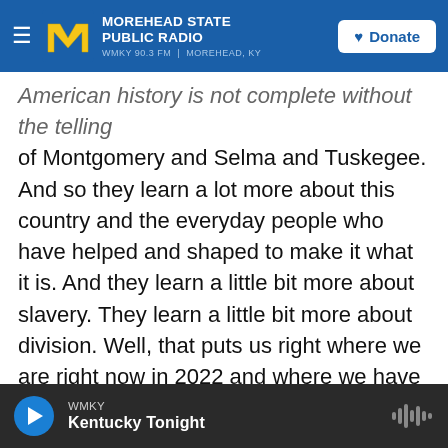Morehead State Public Radio | WMKY 90.3 FM | Morehead, KY | Donate
American history is not complete without the telling of Montgomery and Selma and Tuskegee. And so they learn a lot more about this country and the everyday people who have helped and shaped to make it what it is. And they learn a little bit more about slavery. They learn a little bit more about division. Well, that puts us right where we are right now in 2022 and where we have been, in my opinion, under the previous administration. And you understand, again, how people putting out propaganda can lead to people believing and following that, whether it's with vaccination rates or whether it's with approaches to voting rights or
WMKY | Kentucky Tonight